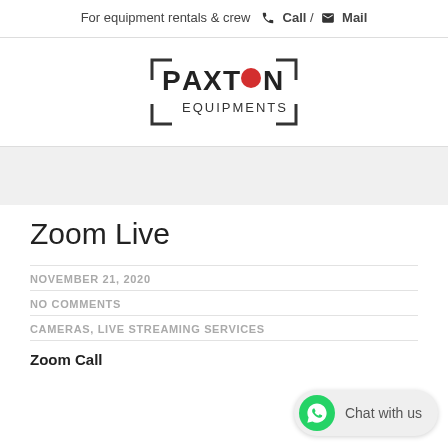For equipment rentals & crew  Call /  Mail
[Figure (logo): Paxton Equipments logo with bracket corners and red circle as the O in Paxton]
Zoom Live
NOVEMBER 21, 2020
NO COMMENTS
CAMERAS, LIVE STREAMING SERVICES
Zoom Call
[Figure (illustration): WhatsApp Chat with us widget button in bottom right corner]